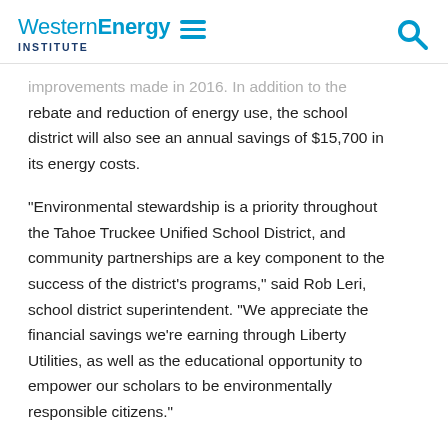Western Energy Institute
improvements made in 2016. In addition to the rebate and reduction of energy use, the school district will also see an annual savings of $15,700 in its energy costs.
“Environmental stewardship is a priority throughout the Tahoe Truckee Unified School District, and community partnerships are a key component to the success of the district’s programs,” said Rob Leri, school district superintendent. “We appreciate the financial savings we’re earning through Liberty Utilities, as well as the educational opportunity to empower our scholars to be environmentally responsible citizens.”